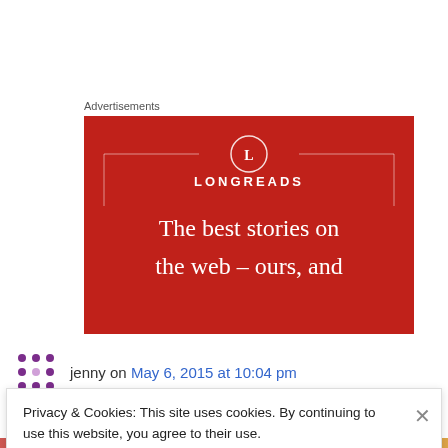Advertisements
[Figure (illustration): Longreads advertisement banner with red background, circular logo with letter L, brand name LONGREADS, and tagline 'The best stories on the web – ours, and']
jenny on May 6, 2015 at 10:04 pm
Privacy & Cookies: This site uses cookies. By continuing to use this website, you agree to their use.
To find out more, including how to control cookies, see here: Cookie Policy
Close and accept